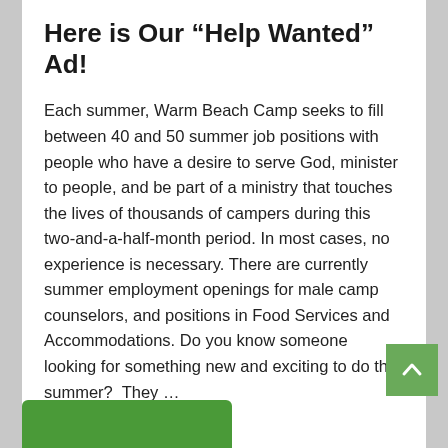Here is Our “Help Wanted” Ad!
Each summer, Warm Beach Camp seeks to fill between 40 and 50 summer job positions with people who have a desire to serve God, minister to people, and be part of a ministry that touches the lives of thousands of campers during this two-and-a-half-month period. In most cases, no experience is necessary. There are currently summer employment openings for male camp counselors, and positions in Food Services and Accommodations. Do you know someone looking for something new and exciting to do this summer? They …